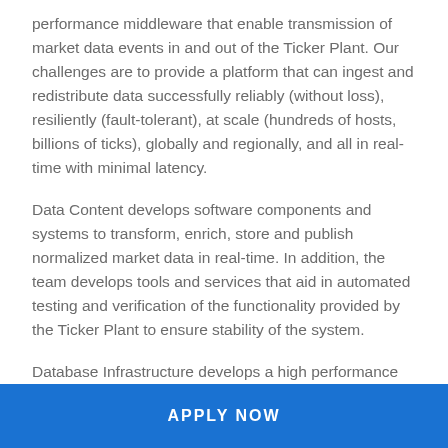performance middleware that enable transmission of market data events in and out of the Ticker Plant. Our challenges are to provide a platform that can ingest and redistribute data successfully reliably (without loss), resiliently (fault-tolerant), at scale (hundreds of hosts, billions of ticks), globally and regionally, and all in real-time with minimal latency.
Data Content develops software components and systems to transform, enrich, store and publish normalized market data in real-time. In addition, the team develops tools and services that aid in automated testing and verification of the functionality provided by the Ticker Plant to ensure stability of the system.
Database Infrastructure develops a high performance time-series database that supports low latency data
APPLY NOW